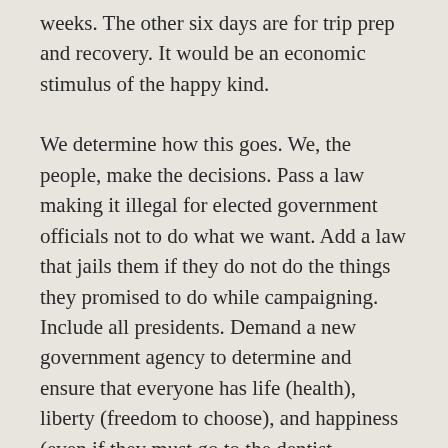weeks. The other six days are for trip prep and recovery. It would be an economic stimulus of the happy kind.
We determine how this goes. We, the people, make the decisions. Pass a law making it illegal for elected government officials not to do what we want. Add a law that jails them if they do not do the things they promised to do while campaigning. Include all presidents. Demand a new government agency to determine and ensure that everyone has life (health), liberty (freedom to choose), and happiness (even if they must go to the dentist sometimes).
But first, let's fix the damn calendar. Remember, Labor Day is the last day of the year and the